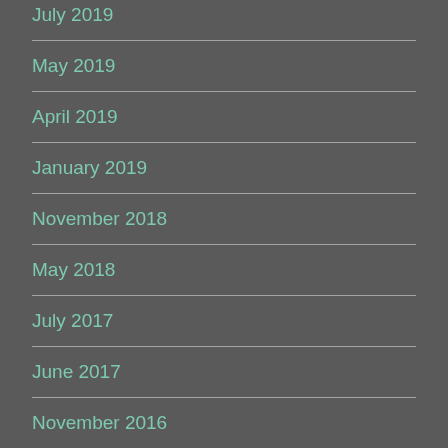July 2019
May 2019
April 2019
January 2019
November 2018
May 2018
July 2017
June 2017
November 2016